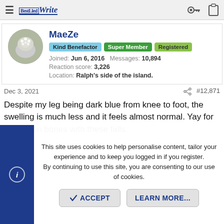BestWrite — navigation bar with hamburger menu, logo, key icon, clipboard icon
MaeZe
Kind Benefactor  Super Member  Registered
Joined: Jun 6, 2016  Messages: 10,894
Reaction score: 3,226
Location: Ralph's side of the island.
Dec 3, 2021  #12,871
Despite my leg being dark blue from knee to foot, the swelling is much less and it feels almost normal. Yay for no broken bones with these falls.
This site uses cookies to help personalise content, tailor your experience and to keep you logged in if you register.
By continuing to use this site, you are consenting to our use of cookies.
ACCEPT  LEARN MORE...